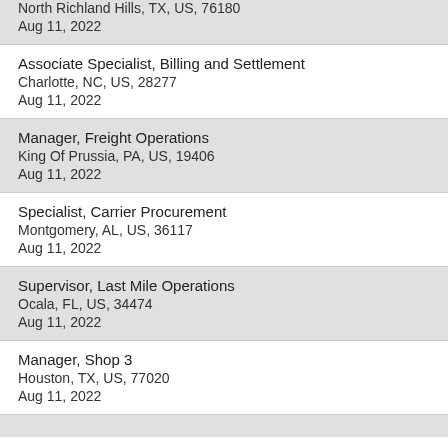North Richland Hills, TX, US, 76180
Aug 11, 2022
Associate Specialist, Billing and Settlement
Charlotte, NC, US, 28277
Aug 11, 2022
Manager, Freight Operations
King Of Prussia, PA, US, 19406
Aug 11, 2022
Specialist, Carrier Procurement
Montgomery, AL, US, 36117
Aug 11, 2022
Supervisor, Last Mile Operations
Ocala, FL, US, 34474
Aug 11, 2022
Manager, Shop 3
Houston, TX, US, 77020
Aug 11, 2022